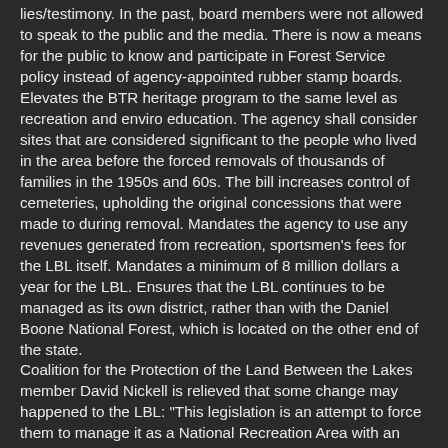lies/testimony. In the past, board members were not allowed to speak to the public and the media. There is now a means for the public to know and participate in Forest Service policy instead of agency-appointed rubber stamp boards. Elevates the BTR heritage program to the same level as recreation and enviro education. The agency shall consider sites that are considered significant to the people who lived in the area before the forced removals of thousands of families in the 1950s and 60s. The bill increases control of cemeteries, upholding the original concessions that were made to during removal. Mandates the agency to use any revenues generated from recreation, sportsmen's fees for the LBL itself. Mandates a minimum of 8 million dollars a year for the LBL. Ensures that the LBL continues to be managed as its own district, rather than with the Daniel Boone National Forest, which is located on the other end of the state. Coalition for the Protection of the Land Between the Lakes member David Nickell is relieved that some change may happened to the LBL: "This legislation is an attempt to force them to manage it as a National Recreation Area with an emphasis on environmental education and heritage. It is an effort to give voice to the former residents, who have been fighting for over 50 years to ensure it lives up to the promise that was made to justify forcing us from our sixth and seventh generation